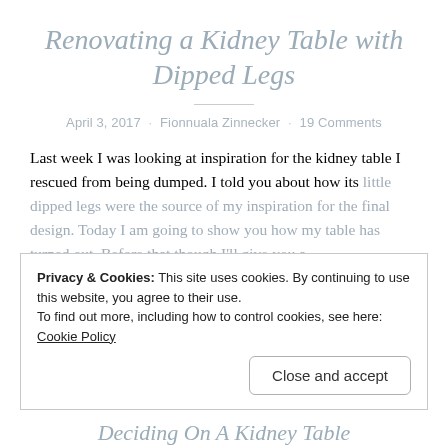Renovating a Kidney Table with Dipped Legs
April 3, 2017 · Fionnuala Zinnecker · 19 Comments
Last week I was looking at inspiration for the kidney table I rescued from being dumped. I told you about how its little dipped legs were the source of my inspiration for the final design. Today I am going to show you how my table has turned out. Before that though I'll give you a...
Continue reading
Privacy & Cookies: This site uses cookies. By continuing to use this website, you agree to their use. To find out more, including how to control cookies, see here: Cookie Policy
Close and accept
Deciding On A Kidney Table